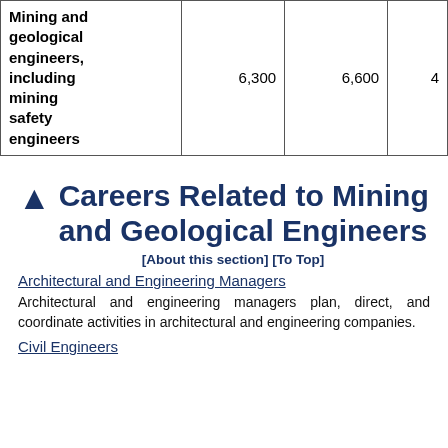| Mining and geological engineers, including mining safety engineers | 6,300 | 6,600 | 4 |
Careers Related to Mining and Geological Engineers
[About this section] [To Top]
Architectural and Engineering Managers
Architectural and engineering managers plan, direct, and coordinate activities in architectural and engineering companies.
Civil Engineers